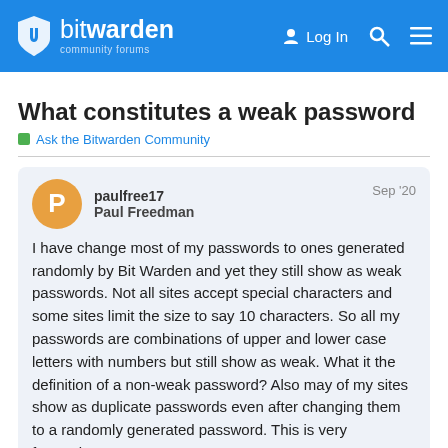bitwarden community forums — Log In
What constitutes a weak password
Ask the Bitwarden Community
paulfree17
Paul Freedman
Sep '20

I have change most of my passwords to ones generated randomly by Bit Warden and yet they still show as weak passwords. Not all sites accept special characters and some sites limit the size to say 10 characters. So all my passwords are combinations of upper and lower case letters with numbers but still show as weak. What it the definition of a non-weak password? Also may of my sites show as duplicate passwords even after changing them to a randomly generated password. This is very frustrating,